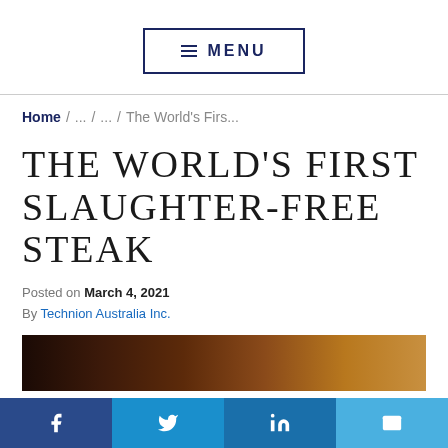≡ MENU
Home / ... / ... / The World's Firs...
THE WORLD'S FIRST SLAUGHTER-FREE STEAK
Posted on March 4, 2021
By Technion Australia Inc.
[Figure (photo): Dark background image of a steak or food item]
f  Twitter  in  Email (social share bar)